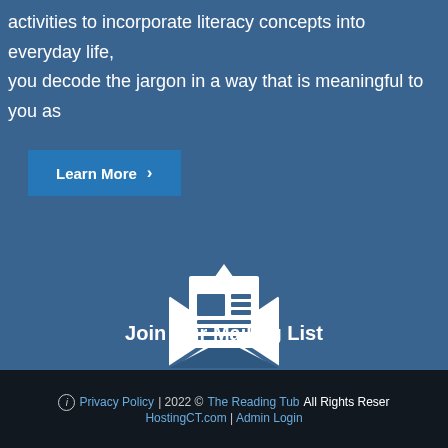activities to incorporate literacy concepts into everyday life, you decode the jargon in a way that is meaningful to you as
Learn More ›
[Figure (illustration): White envelope icon with a newsletter/letter document inside, shown open with an arrow pointing up from the flap.]
Join Our Mailing List
ⓘ Privacy Policy | 2022 © The Reading Tub All Rights Reserved HostingCT.com | Admin Login